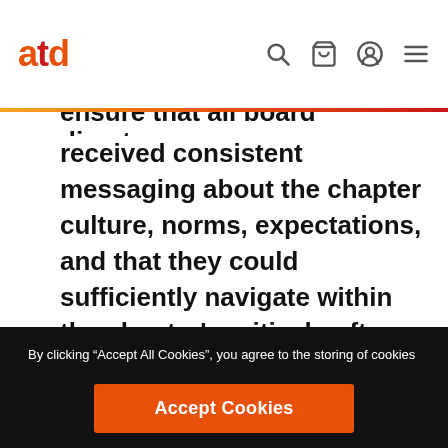atd
ensure that all board directors received consistent messaging about the chapter culture, norms, expectations, and that they could sufficiently navigate within the chapter's critical software applications.
By clicking “Accept All Cookies”, you agree to the storing of cookies on your device to enhance site navigation, analyze site usage, and assist in our marketing efforts. Click here to learn more about our cookie policy.
Accept Cookies